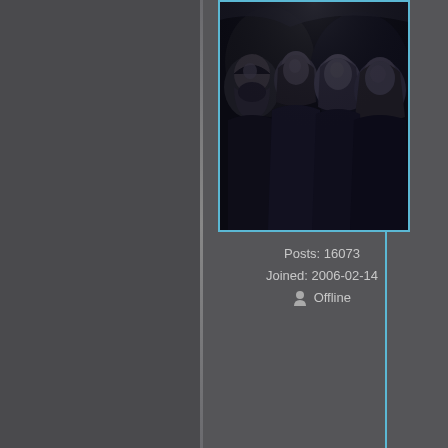[Figure (photo): Black and white profile photo of a music group (ABBA) - four people in dramatic lighting with blue border frame]
Posts: 16073
Joined: 2006-02-14
Offline
Obviously you read We dont certainly be challe